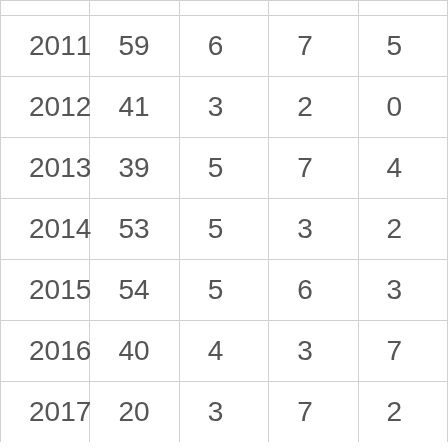| 2011 | 59 | 6 | 7 | 5 |
| 2012 | 41 | 3 | 2 | 0 |
| 2013 | 39 | 5 | 7 | 4 |
| 2014 | 53 | 5 | 3 | 2 |
| 2015 | 54 | 5 | 6 | 3 |
| 2016 | 40 | 4 | 3 | 7 |
| 2017 | 20 | 3 | 7 | 2 |